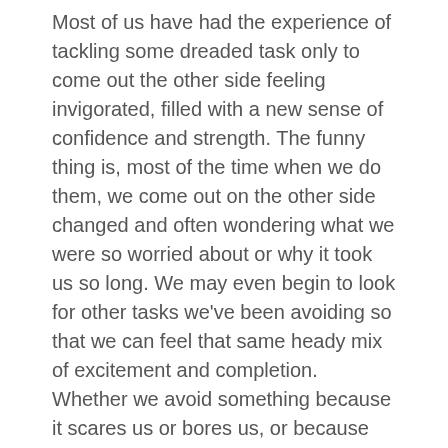Most of us have had the experience of tackling some dreaded task only to come out the other side feeling invigorated, filled with a new sense of confidence and strength. The funny thing is, most of the time when we do them, we come out on the other side changed and often wondering what we were so worried about or why it took us so long. We may even begin to look for other tasks we've been avoiding so that we can feel that same heady mix of excitement and completion.
Whether we avoid something because it scares us or bores us, or because we think it will force a change we're not ready for, putting it off only creates obstacles for us. On the other